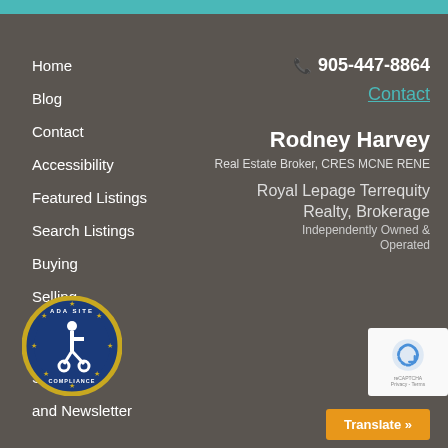Home
Blog
Contact
Accessibility
Featured Listings
Search Listings
Buying
Selling
Services
and Newsletter
905-447-8864
Contact
Rodney Harvey
Real Estate Broker, CRES MCNE RENE
Royal Lepage Terrequity Realty, Brokerage
Independently Owned & Operated
[Figure (logo): ADA Site Compliance accessibility badge — circular badge with wheelchair icon]
[Figure (logo): reCAPTCHA logo badge]
Translate »